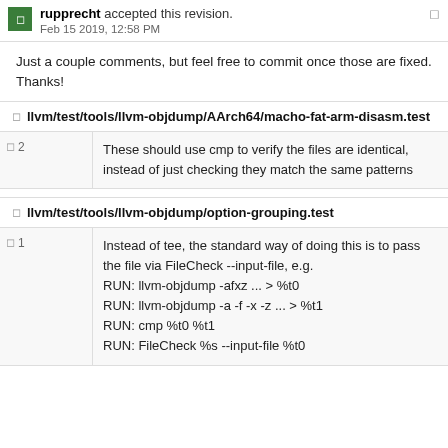rupprecht accepted this revision. Feb 15 2019, 12:58 PM
Just a couple comments, but feel free to commit once those are fixed. Thanks!
llvm/test/tools/llvm-objdump/AArch64/macho-fat-arm-disasm.test
2  These should use cmp to verify the files are identical, instead of just checking they match the same patterns
llvm/test/tools/llvm-objdump/option-grouping.test
1  Instead of tee, the standard way of doing this is to pass the file via FileCheck --input-file, e.g.
RUN: llvm-objdump -afxz ... > %t0
RUN: llvm-objdump -a -f -x -z ... > %t1
RUN: cmp %t0 %t1
RUN: FileCheck %s --input-file %t0